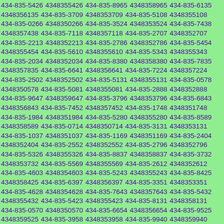434-835-5426 4348355426 434-835-8965 4348358965 434-835-6135 4348356135 434-835-3709 4348353709 434-835-5108 4348355108 434-835-0266 4348350266 434-835-3524 4348353524 434-835-7438 4348357438 434-835-7118 4348357118 434-835-2707 4348352707 434-835-2213 4348352213 434-835-2786 4348352786 434-835-5454 4348355454 434-835-5610 4348355610 434-835-5343 4348355343 434-835-2034 4348352034 434-835-8380 4348358380 434-835-7835 4348357835 434-835-6641 4348356641 434-835-7224 4348357224 434-835-2502 4348352502 434-835-5131 4348355131 434-835-0578 4348350578 434-835-5081 4348355081 434-835-2888 4348352888 434-835-9647 4348359647 434-835-3796 4348353796 434-835-6843 4348356843 434-835-7452 4348357452 434-835-1748 4348351748 434-835-1984 4348351984 434-835-5280 4348355280 434-835-8589 4348358589 434-835-0714 4348350714 434-835-3131 4348353131 434-835-1037 4348351037 434-835-1169 4348351169 434-835-2404 4348352404 434-835-2552 4348352552 434-835-2796 4348352796 434-835-5326 4348355326 434-835-8837 4348358837 434-835-3732 4348353732 434-835-5569 4348355569 434-835-2612 4348352612 434-835-4603 4348354603 434-835-5243 4348355243 434-835-8425 4348358425 434-835-6397 4348356397 434-835-3351 4348353351 434-835-4628 4348354628 434-835-7643 4348357643 434-835-5432 4348355432 434-835-5423 4348355423 434-835-8131 4348358131 434-835-0570 4348350570 434-835-6654 4348356654 434-835-9525 4348359525 434-835-3958 4348353958 434-835-9940 4348359940 434-835-0237 4348350237 434-835-9752 4348359752 434-835-1829